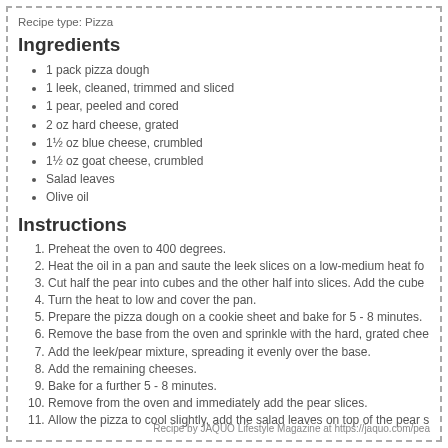Recipe type: Pizza
Ingredients
1 pack pizza dough
1 leek, cleaned, trimmed and sliced
1 pear, peeled and cored
2 oz hard cheese, grated
1½ oz blue cheese, crumbled
1½ oz goat cheese, crumbled
Salad leaves
Olive oil
Instructions
1. Preheat the oven to 400 degrees.
2. Heat the oil in a pan and saute the leek slices on a low-medium heat fo...
3. Cut half the pear into cubes and the other half into slices. Add the cube...
4. Turn the heat to low and cover the pan.
5. Prepare the pizza dough on a cookie sheet and bake for 5 - 8 minutes.
6. Remove the base from the oven and sprinkle with the hard, grated chee...
7. Add the leek/pear mixture, spreading it evenly over the base.
8. Add the remaining cheeses.
9. Bake for a further 5 - 8 minutes.
10. Remove from the oven and immediately add the pear slices.
11. Allow the pizza to cool slightly, add the salad leaves on top of the pear s...
Recipe by JAQUO Lifestyle Magazine at https://jaquo.com/pea...